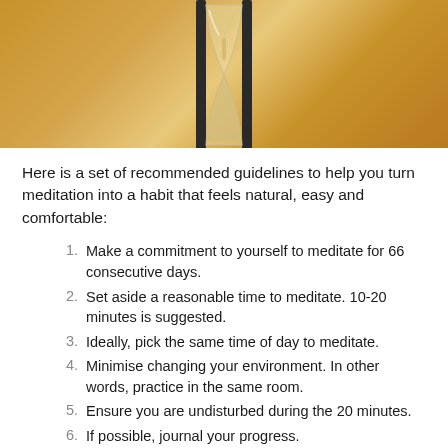[Figure (photo): Close-up photo of an hourglass with sand falling, warm golden/amber background]
Here is a set of recommended guidelines to help you turn meditation into a habit that feels natural, easy and comfortable:
Make a commitment to yourself to meditate for 66 consecutive days.
Set aside a reasonable time to meditate. 10-20 minutes is suggested.
Ideally, pick the same time of day to meditate.
Minimise changing your environment. In other words, practice in the same room.
Ensure you are undisturbed during the 20 minutes.
If possible, journal your progress.